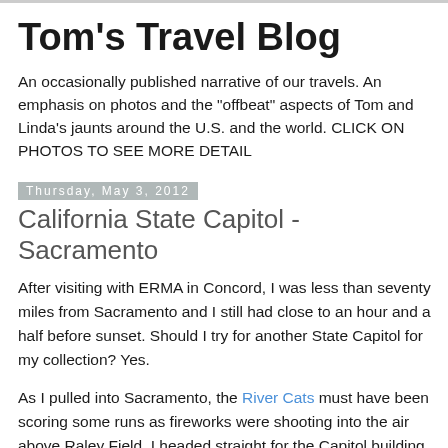Tom's Travel Blog
An occasionally published narrative of our travels. An emphasis on photos and the "offbeat" aspects of Tom and Linda's jaunts around the U.S. and the world. CLICK ON PHOTOS TO SEE MORE DETAIL
Thursday, May 3, 2012
California State Capitol - Sacramento
After visiting with ERMA in Concord, I was less than seventy miles from Sacramento and I still had close to an hour and a half before sunset.  Should I try for another State Capitol for my collection?  Yes.
As I pulled into Sacramento, the River Cats must have been scoring some runs as fireworks were shooting into the air above Raley Field.  I headed straight for the Capitol building.